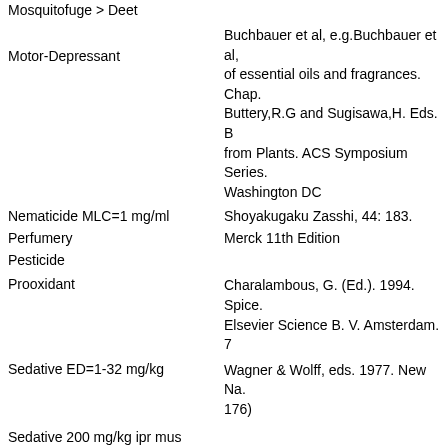Mosquitofuge > Deet
Motor-Depressant
Buchbauer et al, e.g.Buchbauer et al, of essential oils and fragrances. Chap. Buttery,R.G and Sugisawa,H. Eds. B from Plants. ACS Symposium Series. Washington DC
Nematicide MLC=1 mg/ml
Shoyakugaku Zasshi, 44: 183.
Perfumery
Merck 11th Edition
Pesticide
Prooxidant
Charalambous, G. (Ed.). 1994. Spice. Elsevier Science B. V. Amsterdam. 7
Sedative ED=1-32 mg/kg
Wagner & Wolff, eds. 1977. New Na. 176)
Sedative 200 mg/kg ipr mus (1% as active as diazepam)
Termitifuge
Jacobson, M., Glossary of Plant-Deri. Press, Inc., Boca Raton, FL, 213 p, 1
Trichomonicide LD100=600 ug/ml
Tumor-Promoter
HEX-2-ENOIC-ACID-METHYL-ESTER
Fruit   --   --